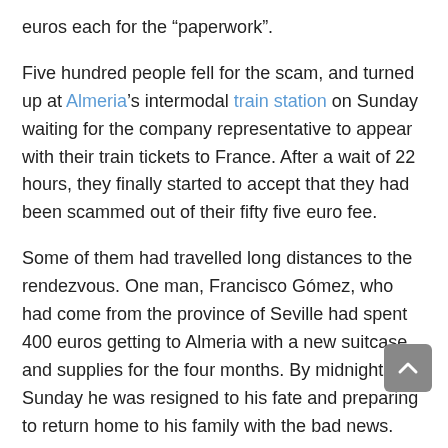euros each for the "paperwork".
Five hundred people fell for the scam, and turned up at Almeria's intermodal train station on Sunday waiting for the company representative to appear with their train tickets to France. After a wait of 22 hours, they finally started to accept that they had been scammed out of their fifty five euro fee.
Some of them had travelled long distances to the rendezvous. One man, Francisco Gómez, who had come from the province of Seville had spent 400 euros getting to Almeria with a new suitcase and supplies for the four months. By midnight on Sunday he was resigned to his fate and preparing to return home to his family with the bad news.
The scam had started with local adverts across Andalucia advertising the positions. Applicants